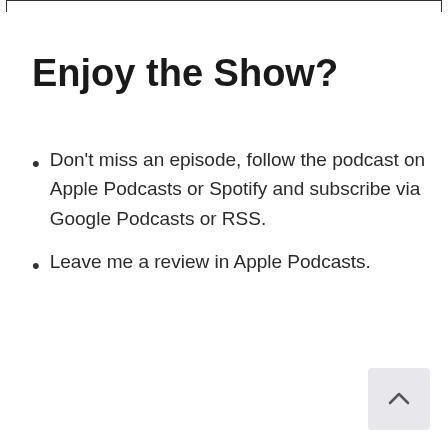Enjoy the Show?
Don't miss an episode, follow the podcast on Apple Podcasts or Spotify and subscribe via Google Podcasts or RSS.
Leave me a review in Apple Podcasts.